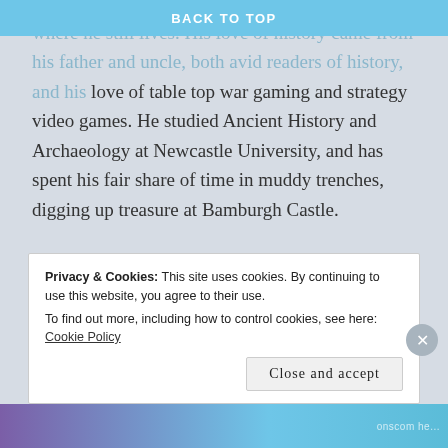BACK TO TOP
where he still lives. His love of history came from his father and uncle, both avid readers of history, and his love of table top war gaming and strategy video games. He studied Ancient History and Archaeology at Newcastle University, and has spent his fair share of time in muddy trenches, digging up treasure at Bamburgh Castle.
He has worked in the retail sector and volunteered in museums, before working in York Minster, which he considered the perfect office. His love of writing blossomed within the historic walls, and he knew there were stories within which had to be told. Despite a move in to the shipping and logistics sector (a far cry to what
Privacy & Cookies: This site uses cookies. By continuing to use this website, you agree to their use.
To find out more, including how to control cookies, see here: Cookie Policy
Close and accept